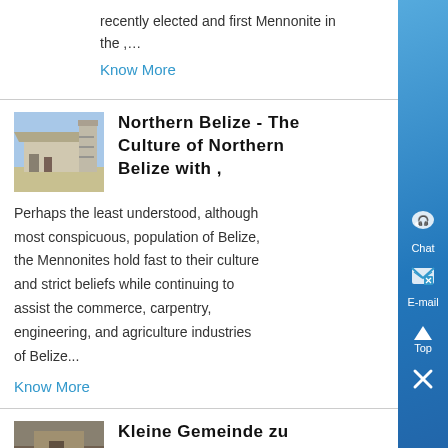recently elected and first Mennonite in the ,…
Know More
Northern Belize - The Culture of Northern Belize with ,
[Figure (photo): Industrial or agricultural building exterior with machinery, blue sky background]
Perhaps the least understood, although most conspicuous, population of Belize, the Mennonites hold fast to their culture and strict beliefs while continuing to assist the commerce, carpentry, engineering, and agriculture industries of Belize...
Know More
Kleine Gemeinde zu